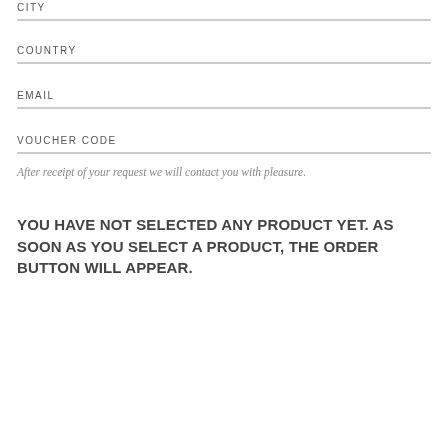CITY
COUNTRY
EMAIL
VOUCHER CODE
After receipt of your request we will contact you with pleasure.
YOU HAVE NOT SELECTED ANY PRODUCT YET. AS SOON AS YOU SELECT A PRODUCT, THE ORDER BUTTON WILL APPEAR.